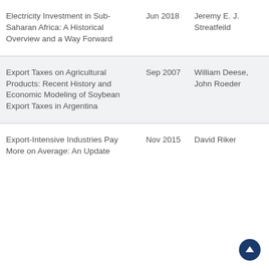| Title | Date | Author |
| --- | --- | --- |
| Electricity Investment in Sub-Saharan Africa: A Historical Overview and a Way Forward | Jun 2018 | Jeremy E. J. Streatfeild |
| Export Taxes on Agricultural Products: Recent History and Economic Modeling of Soybean Export Taxes in Argentina | Sep 2007 | William Deese, John Roeder |
| Export-Intensive Industries Pay More on Average: An Update | Nov 2015 | David Riker |